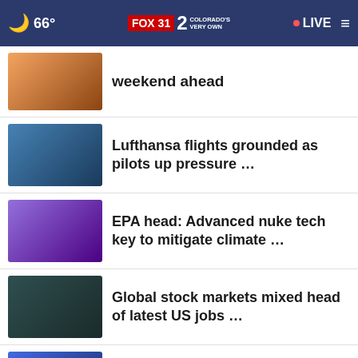66° FOX 31 2 COLORADO'S VERY OWN • LIVE
...weekend ahead
Lufthansa flights grounded as pilots up pressure ...
EPA head: Advanced nuke tech key to mitigate climate ...
Global stock markets mixed head of latest US jobs ...
Braves rookie Strider fans Atlanta record 16 in win ...
What community leaders say about
[Figure (screenshot): Denver Mattress Co. 4 DAY SUPER LABOR DAY SALE advertisement banner. BUY MORE • SAVE MORE!]
Broncos fans excited about Wilson's ...